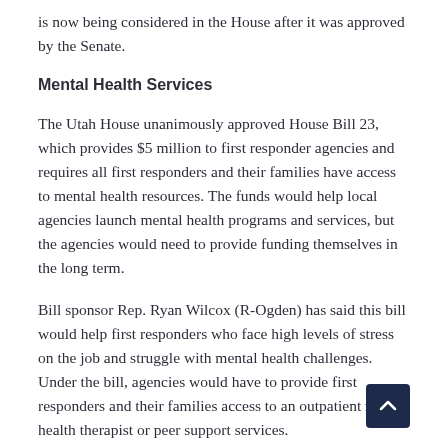is now being considered in the House after it was approved by the Senate.
Mental Health Services
The Utah House unanimously approved House Bill 23, which provides $5 million to first responder agencies and requires all first responders and their families have access to mental health resources. The funds would help local agencies launch mental health programs and services, but the agencies would need to provide funding themselves in the long term.
Bill sponsor Rep. Ryan Wilcox (R-Ogden) has said this bill would help first responders who face high levels of stress on the job and struggle with mental health challenges. Under the bill, agencies would have to provide first responders and their families access to an outpatient mental health therapist or peer support services.
The bill would cover law enforcement officers, emergency